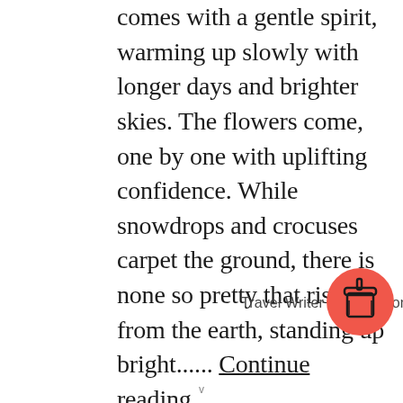comes with a gentle spirit, warming up slowly with longer days and brighter skies. The flowers come, one by one with uplifting confidence. While snowdrops and crocuses carpet the ground, there is none so pretty that rises from the earth, standing up bright...... Continue reading
Travel Writer Appreciation
[Figure (illustration): A red/coral circle with a coffee cup icon (takeaway cup with straw or lid) in dark outline style]
v